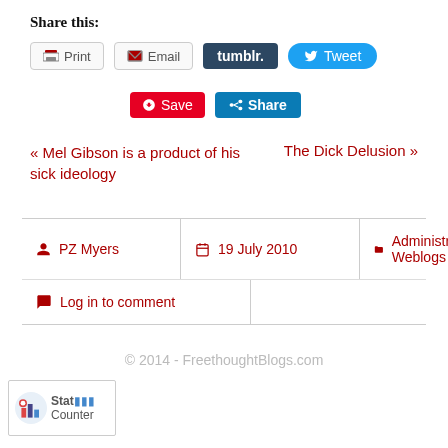Share this:
Print | Email | tumblr. | Tweet
Save | Share
« Mel Gibson is a product of his sick ideology
The Dick Delusion »
PZ Myers | 19 July 2010 | Administrative, Weblogs
Log in to comment
© 2014 - FreethoughtBlogs.com
[Figure (logo): StatCounter logo badge with bar chart icon]